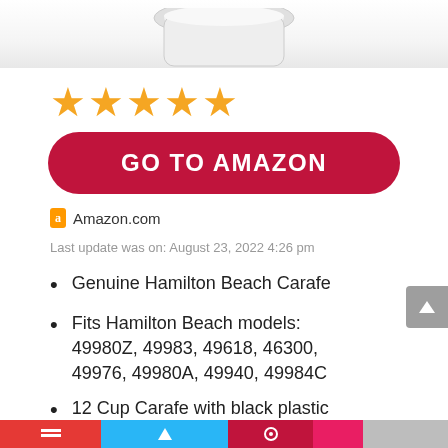[Figure (photo): Partial top view of a white glass carafe/coffee pot against white background]
[Figure (other): Five orange/gold star rating icons]
GO TO AMAZON
a Amazon.com
Last update was on: August 23, 2022 4:26 pm
Genuine Hamilton Beach Carafe
Fits Hamilton Beach models: 49980Z, 49983, 49618, 46300, 49976, 49980A, 49940, 49984C
12 Cup Carafe with black plastic handle and lid